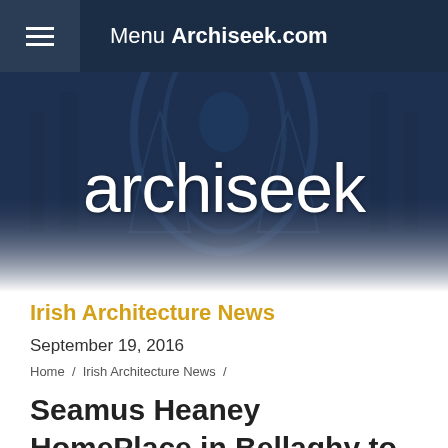Menu Archiseek.com
[Figure (illustration): Archiseek.com website header banner with gothic cathedral architecture in dark blue tones and the word 'archiseek' in large white text overlaid]
Irish Architecture News
September 19, 2016
Home / Irish Architecture News /
Seamus Heaney HomePlace in Bellaghy to open